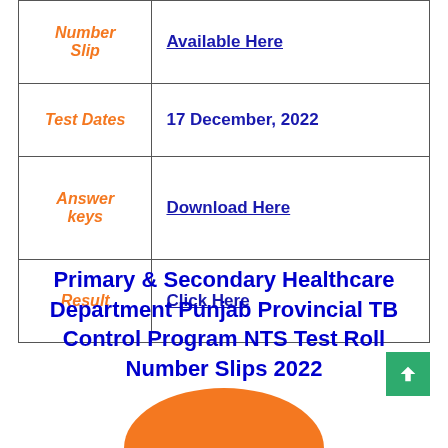| Field | Value |
| --- | --- |
| Number Slip | Available Here |
| Test Dates | 17 December, 2022 |
| Answer keys | Download Here |
| Result | Click Here |
Primary & Secondary Healthcare Department Punjab Provincial TB Control Program NTS Test Roll Number Slips 2022